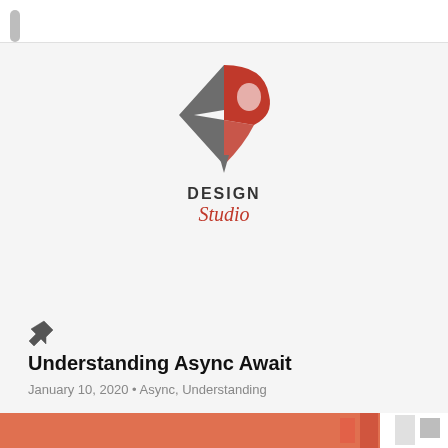[Figure (logo): Design Studio logo: a diamond/arrow shape in grey and red with letter P, above the text DESIGN Studio]
Understanding Async Await
January 10, 2020 • Async, Understanding
[Figure (photo): Partial view of a colorful image at the bottom of the page, appears to be a decorative or article thumbnail]